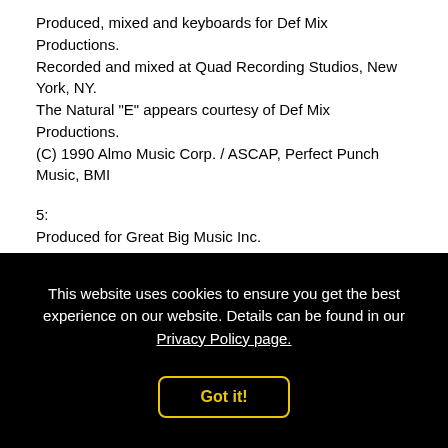Produced, mixed and keyboards for Def Mix Productions.
Recorded and mixed at Quad Recording Studios, New York, NY.
The Natural "E" appears courtesy of Def Mix Productions.
(C) 1990 Almo Music Corp. / ASCAP, Perfect Punch Music, BMI
5:
Produced for Great Big Music Inc.
Recorded at Westlake Audio, Los Angeles, CA.
(C) 1989 Macaluso Music / BMI, Da Da Music / ASCAP
6:
Produced for Tony Moran Enterprises, Inc.
Recorded at D & D Recording, Unique Recording and Mirror Image Studios, New York, NY.
Mixed at Platinum Island, New York, NY.
This website uses cookies to ensure you get the best experience on our website. Details can be found in our Privacy Policy page.
Got it!